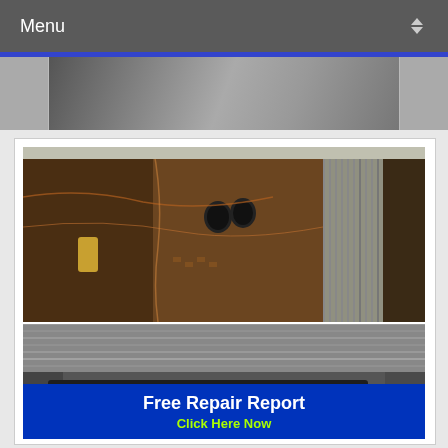Menu
[Figure (photo): Partial view of a wired electronic device interior, cropped at top of page]
[Figure (photo): Interior of an opened stereo amplifier showing PCB circuit board with capacitors, wiring, and heat sink fins]
[Figure (photo): Close-up of heat sink fins and STK4151X STEREO AMPLIFIER IC chip on dark module with JestineYong.com watermark label]
[Figure (infographic): Blue banner advertisement reading 'Free Repair Report – Click Here Now']